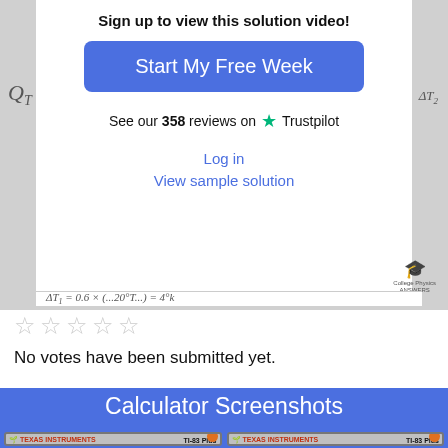[Figure (screenshot): Modal overlay on a physics solution page with 'Sign up to view this solution video!' heading, 'Start My Free Week' blue button, Trustpilot 358 reviews badge, Log in and View sample solution links. Background shows handwritten math with Q_T and delta T_2 notation. Bottom shows partial formula. College Physics Answers logo in corner.]
No votes have been submitted yet.
Calculator Screenshots
[Figure (screenshot): Texas Instruments TI-83 Plus calculator screen showing: .2*(2090*20+334e3+4186*100+2256e3+1520*30) result 619200]
[Figure (screenshot): Texas Instruments TI-83 Plus calculator screen showing: .2*334e3/20e3 = 3.34, 2*4186*100/20e3]